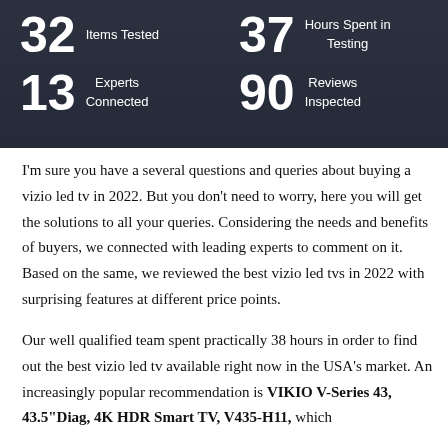[Figure (infographic): Dark overlay infographic banner showing four statistics: 32 Items Tested, 37 Hours Spent in Testing, 13 Experts Connected, 90 Reviews Inspected]
I'm sure you have a several questions and queries about buying a vizio led tv in 2022. But you don't need to worry, here you will get the solutions to all your queries. Considering the needs and benefits of buyers, we connected with leading experts to comment on it. Based on the same, we reviewed the best vizio led tvs in 2022 with surprising features at different price points.
Our well qualified team spent practically 38 hours in order to find out the best vizio led tv available right now in the USA's market. An increasingly popular recommendation is VIKIO V-Series 43, 43.5"Diag, 4K HDR Smart TV, V435-H11, which